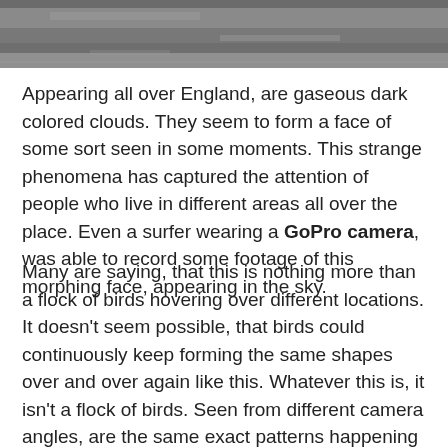[Figure (photo): Dark grayish sky or water surface photo, cropped at top of page]
Appearing all over England, are gaseous dark colored clouds. They seem to form a face of some sort seen in some moments. This strange phenomena has captured the attention of people who live in different areas all over the place. Even a surfer wearing a GoPro camera, was able to record some footage of this morphing face, appearing in the sky.
Many are saying, that this is nothing more than a flock of birds hovering over different locations. It doesn’t seem possible, that birds could continuously keep forming the same shapes over and over again like this. Whatever this is, it isn’t a flock of birds. Seen from different camera angles, are the same exact patterns happening in the air.